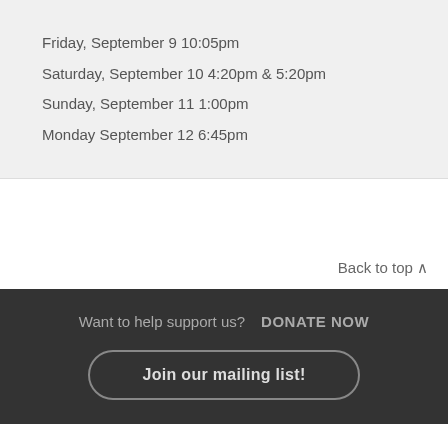Friday, September 9 10:05pm
Saturday, September 10 4:20pm & 5:20pm
Sunday, September 11 1:00pm
Monday September 12 6:45pm
Back to top ^
Want to help support us?  DONATE NOW
Join our mailing list!